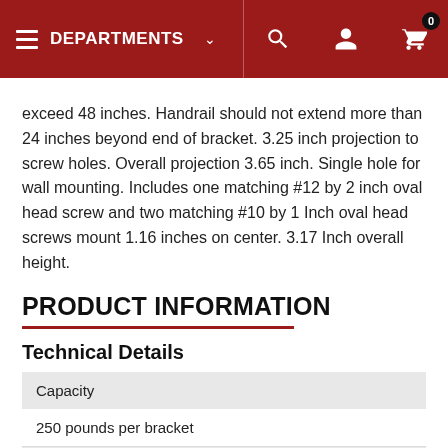DEPARTMENTS
exceed 48 inches. Handrail should not extend more than 24 inches beyond end of bracket. 3.25 inch projection to screw holes. Overall projection 3.65 inch. Single hole for wall mounting. Includes one matching #12 by 2 inch oval head screw and two matching #10 by 1 Inch oval head screws mount 1.16 inches on center. 3.17 Inch overall height.
PRODUCT INFORMATION
Technical Details
| Property | Value |
| --- | --- |
| Capacity |  |
|  | 250 pounds per bracket |
| Color |  |
|  | Satin Stainless Steel |
| Count |  |